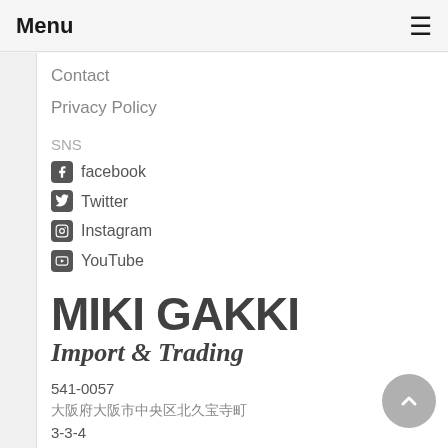Menu ☰
Contact
Privacy Policy
SNS
facebook
Twitter
Instagram
YouTube
[Figure (logo): MIKI GAKKI Import & Trading logo in bold dark serif and sans-serif text]
541-0057
大阪府大阪市中央区北久宝寺町
3-3-4